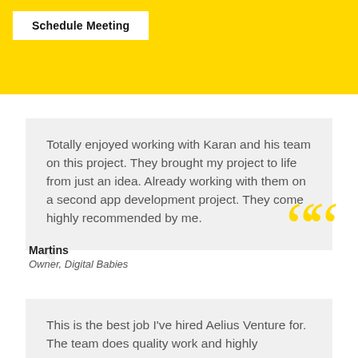[Figure (other): Yellow banner section with a white 'Schedule Meeting' button]
Totally enjoyed working with Karan and his team on this project. They brought my project to life from just an idea. Already working with them on a second app development project. They come highly recommended by me.
Martins
Owner, Digital Babies
This is the best job I've hired Aelius Venture for. The team does quality work and highly